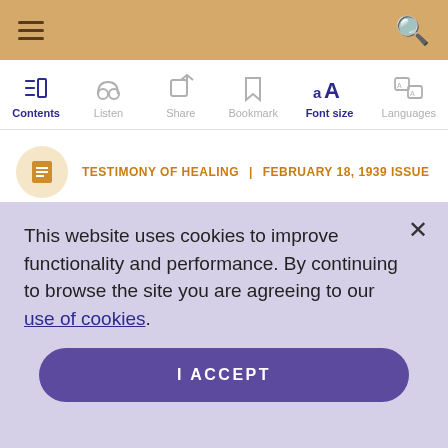Navigation bar with hamburger menu and search icon
[Figure (screenshot): Toolbar with icons: Contents, Listen, Share, Bookmark, Font size (active/selected), Languages]
TESTIMONY OF HEALING | FEBRUARY 18, 1939 ISSUE
This website uses cookies to improve functionality and performance. By continuing to browse the site you are agreeing to our use of cookies.
I ACCEPT